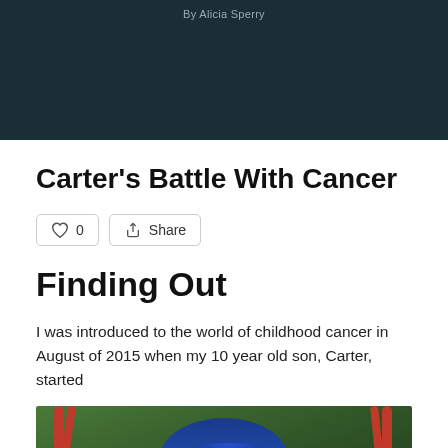By Alicia Sperry
Carter's Battle With Cancer
Finding Out
I was introduced to the world of childhood cancer in August of 2015 when my 10 year old son, Carter, started
[Figure (photo): A young boy wearing a blue plaid shirt and a blue baseball cap, photographed outdoors near red playground equipment with green trees in the background.]